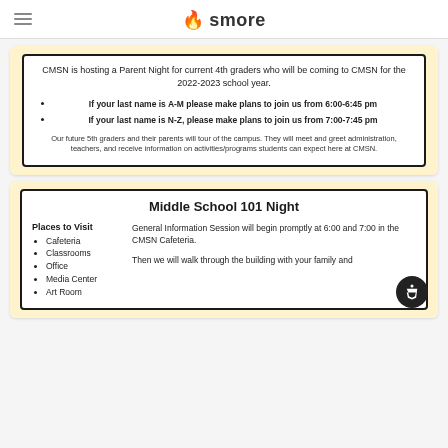smore
CMSN is hosting a Parent Night for current 4th graders who will be coming to CMSN for the 2022-2023 school year.
If your last name is A-M please make plans to join us from 6:00-6:45 pm
If your last name is N-Z, please make plans to join us from 7:00-7:45 pm
Our future 5th graders and their parents will tour of the campus. They will meet and greet administration, teachers, and receive information on activities/programs students can expect here at CMSN.
Middle School 101 Night
Places to Visit
Cafeteria
Classrooms
Office
Media Center
Art Room
General Information Session will begin promptly at 6:00 and 7:00 in the CMSN Cafeteria.
Then we will walk through the building with your family and